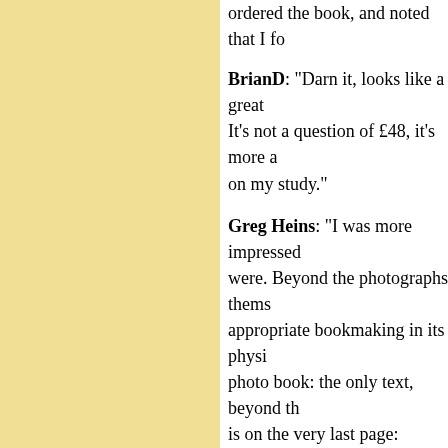ordered the book, and noted that I fo
BrianD: "Darn it, looks like a great ... It's not a question of £48, it's more a ... on my study."
Greg Heins: "I was more impressed ... were. Beyond the photographs thems ... appropriate bookmaking in its physi ... photo book: the only text, beyond th ... is on the very last page: 'Photograph ... and 2018.' That's it. No intro, no out ... photographer's website. Nice."
Posted on Monday, 06 January 2020 at 07:56 AM in B
Tweet   Like 1
"We are shifting to books for a few c